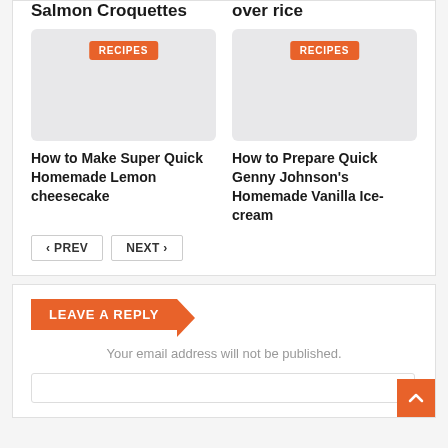Salmon Croquettes
over rice
[Figure (photo): Recipe card image placeholder with RECIPES badge, left card]
[Figure (photo): Recipe card image placeholder with RECIPES badge, right card]
How to Make Super Quick Homemade Lemon cheesecake
How to Prepare Quick Genny Johnson's Homemade Vanilla Ice-cream
< PREV   NEXT >
LEAVE A REPLY
Your email address will not be published.